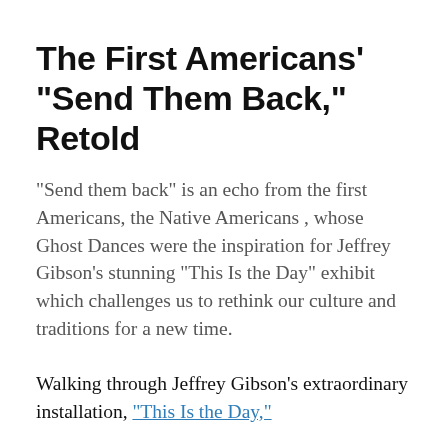The First Americans' “Send Them Back,” Retold
“Send them back” is an echo from the first Americans, the Native Americans , whose Ghost Dances were the inspiration for Jeffrey Gibson’s stunning “This Is the Day” exhibit which challenges us to rethink our culture and traditions for a new time.
Walking through Jeffrey Gibson’s extraordinary installation, “This Is the Day,”